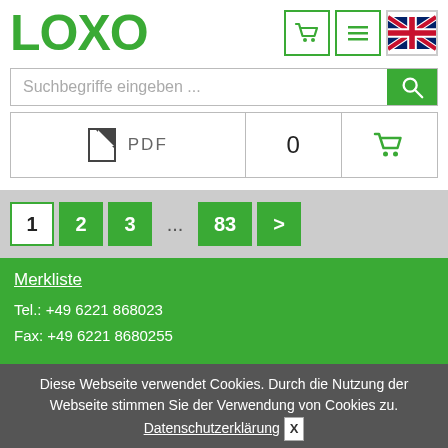[Figure (logo): LOXO logo in green, bold text]
[Figure (screenshot): Header icons: shopping cart, menu lines, UK flag]
Suchbegriffe eingeben ...
[Figure (infographic): Product row: document/PDF icon, count 0, shopping cart icon]
[Figure (infographic): Pagination: 1 (active), 2, 3, ..., 83, >]
Merkliste
Tel.: +49 6221 868023
Fax: +49 6221 8680255
Diese Webseite verwendet Cookies. Durch die Nutzung der Webseite stimmen Sie der Verwendung von Cookies zu. Datenschutzerklärung X